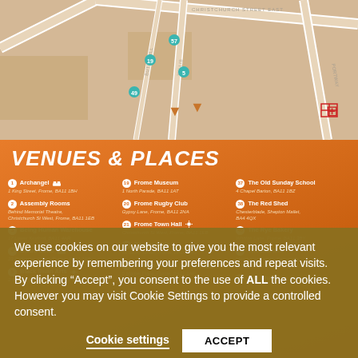[Figure (map): Street map of Frome town centre with road labels, numbered venue markers, and a rail station symbol]
VENUES & PLACES
1 Archangel — 1 King Street, Frome, BA11 1BH
2 Assembly Rooms — Behind Memorial Theatre, Christchurch St West, Frome, BA11 1EB
3 Being Human Warehouse — 17 Lower Keyford, BA11 4AR
4 Bistro Lotto — 23 Catherine Street, Frome, BA11 1BB
5 Black Swan Arts — 2 Bridge Street, Frome, BA11 1BB
19 Frome Museum — 1 North Parade, BA11 1AT
20 Frome Rugby Club — Gypsy Lane, Frome, BA11 2NA
21 Frome Town Hall — Christchurch St West, Frome, BA11 1EB
22 Garden Cafe — 16 Stony Street, Frome, BA11 1BU
23 George Hotel & Granary — 5 Market Place, Frome, BA11 1AF
37 The Old Sunday School — 4 Chapel Barton, BA11 1BZ
38 The Red Shed — Chesterblade, Shepton Mallet, BA4 4QX
40 The Rye Bakery — Whitton Lane, Frome, BA11 3BY
41 The Silk Mill — Merchants Barton, Saxonvale, Frome, BA11 1PT
42 The Studio
We use cookies on our website to give you the most relevant experience by remembering your preferences and repeat visits. By clicking "Accept", you consent to the use of ALL the cookies. However you may visit Cookie Settings to provide a controlled consent.
Cookie settings
ACCEPT